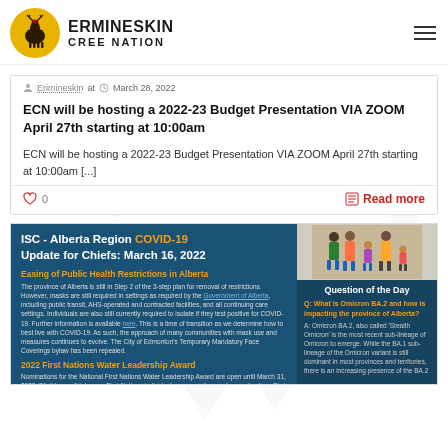Ermineskin Cree Nation
Erimineskin at  March 28, 2022
ECN will be hosting a 2022-23 Budget Presentation VIA ZOOM April 27th starting at 10:00am
ECN will be hosting a 2022-23 Budget Presentation VIA ZOOM April 27th starting at 10:00am [...]
0  Read more
[Figure (infographic): ISC Alberta Region COVID-19 Update for Chiefs March 16 2022. Left panel on dark blue background with text about Easing of Public Health Restrictions in Alberta and 2022 First Nations Water Leadership Award. Right panel shows family illustration and Question of the Day about Omicron BA.2.]